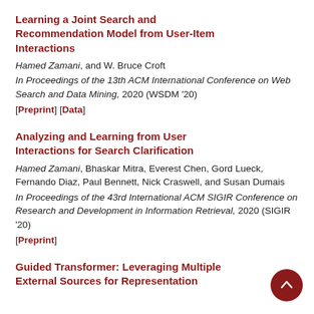Learning a Joint Search and Recommendation Model from User-Item Interactions
Hamed Zamani, and W. Bruce Croft
In Proceedings of the 13th ACM International Conference on Web Search and Data Mining, 2020 (WSDM '20)
[Preprint] [Data]
Analyzing and Learning from User Interactions for Search Clarification
Hamed Zamani, Bhaskar Mitra, Everest Chen, Gord Lueck, Fernando Diaz, Paul Bennett, Nick Craswell, and Susan Dumais
In Proceedings of the 43rd International ACM SIGIR Conference on Research and Development in Information Retrieval, 2020 (SIGIR '20)
[Preprint]
Guided Transformer: Leveraging Multiple External Sources for Representation